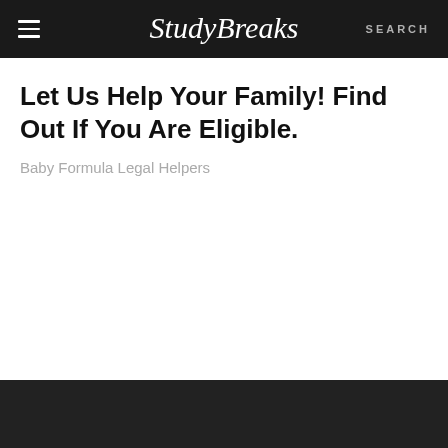Study Breaks  SEARCH
Let Us Help Your Family! Find Out If You Are Eligible.
Baby Formula Legal Helpers